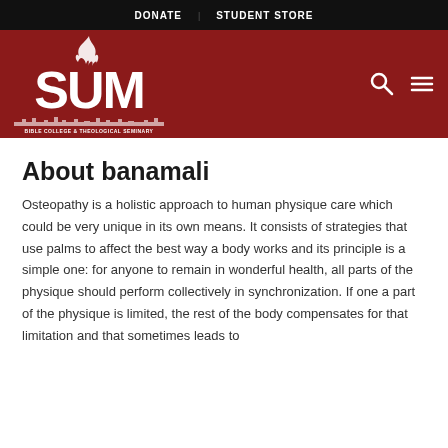DONATE | STUDENT STORE
[Figure (logo): SUM Bible College & Theological Seminary logo — white text and flame graphic on dark red background]
About banamali
Osteopathy is a holistic approach to human physique care which could be very unique in its own means. It consists of strategies that use palms to affect the best way a body works and its principle is a simple one: for anyone to remain in wonderful health, all parts of the physique should perform collectively in synchronization. If one a part of the physique is limited, the rest of the body compensates for that limitation and that sometimes leads to disease for different medical conditions.